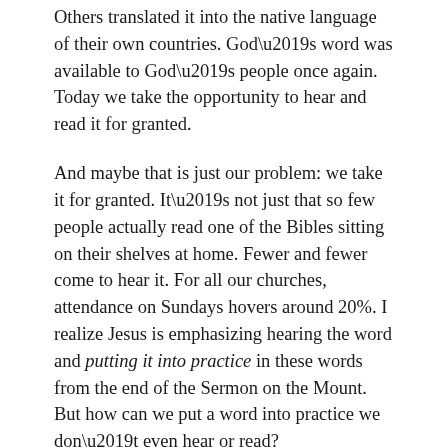Others translated it into the native language of their own countries. God’s word was available to God’s people once again. Today we take the opportunity to hear and read it for granted.
And maybe that is just our problem: we take it for granted. It’s not just that so few people actually read one of the Bibles sitting on their shelves at home. Fewer and fewer come to hear it. For all our churches, attendance on Sundays hovers around 20%. I realize Jesus is emphasizing hearing the word and putting it into practice in these words from the end of the Sermon on the Mount. But how can we put a word into practice we don’t even hear or read?
In the context of the Sermon on the Mount, putting this word in to practice means that we don’t rationalize our